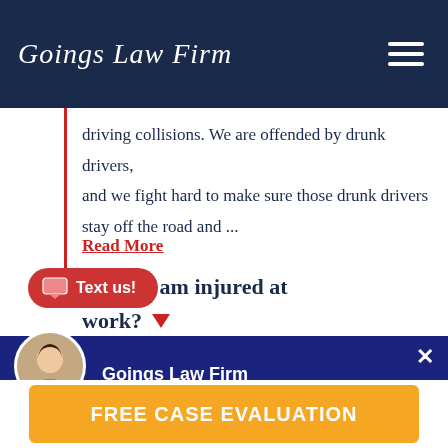Goings Law Firm
driving collisions. We are offended by drunk drivers, and we fight hard to make sure those drunk drivers stay off the road and ...
Read More
Text us!
able if I am injured at work?
[Figure (screenshot): Chat popup overlay showing Goings Law Firm with a female avatar, close button, and message: Need legal assistance? Get help instantly!]
FREE CASE EVALUATION